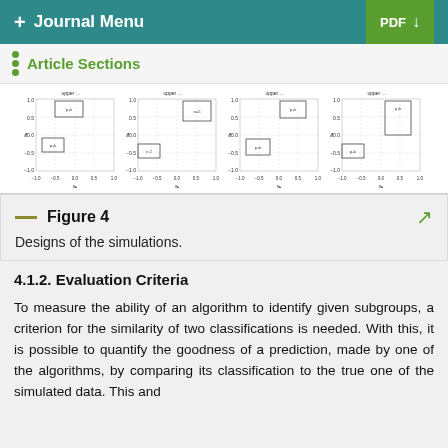+ Journal Menu | PDF ↓
Article Sections
[Figure (other): Four scatter plots showing designs of the simulations, each with x1 on x-axis (-1.0 to 1.0) and x2 on y-axis (-1.0 to 1.0), with rectangular regions labeled p+k and p+k2.]
Figure 4
Designs of the simulations.
4.1.2. Evaluation Criteria
To measure the ability of an algorithm to identify given subgroups, a criterion for the similarity of two classifications is needed. With this, it is possible to quantify the goodness of a prediction, made by one of the algorithms, by comparing its classification to the true one of the simulated data. This and